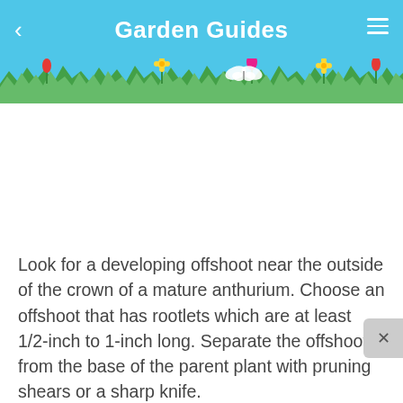Garden Guides
[Figure (illustration): Garden Guides header banner with sky blue background, grass silhouette along the bottom with colorful flowers and a white butterfly. Back arrow on left, hamburger menu on right.]
Look for a developing offshoot near the outside of the crown of a mature anthurium. Choose an offshoot that has rootlets which are at least 1/2-inch to 1-inch long. Separate the offshoot from the base of the parent plant with pruning shears or a sharp knife.